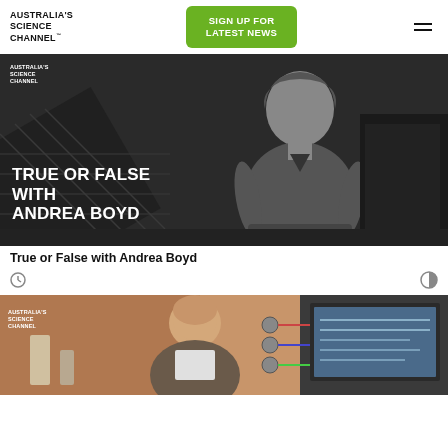AUSTRALIA'S SCIENCE CHANNEL™
SIGN UP FOR LATEST NEWS
[Figure (photo): Black and white photo of Andrea Boyd seated, with solar panels in background, overlaid text: TRUE OR FALSE WITH ANDREA BOYD. Australia's Science Channel logo in top left corner.]
True or False with Andrea Boyd
[Figure (photo): Colour photo of a bald man in a lab or workshop environment with electronics and a laptop visible. Australia's Science Channel logo in top left corner.]